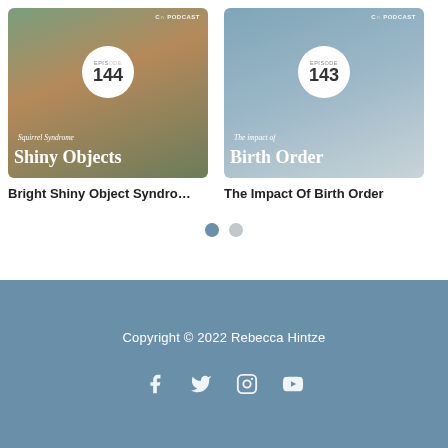[Figure (photo): Podcast episode 144 cover art: squirrel with terra cotta pot, title Shiny Objects / Squirrel Syndrome]
Bright Shiny Object Syndro…
[Figure (photo): Podcast episode 143 cover art: family with children, title The Impact of Birth Order]
The Impact Of Birth Order
Copyright © 2022 Rebecca Hintze